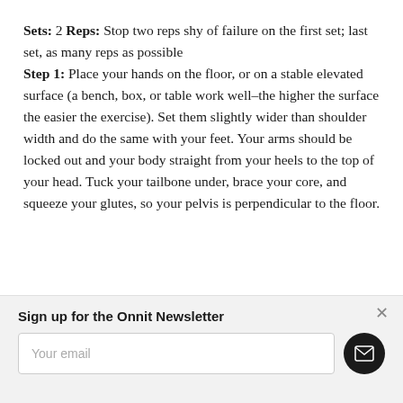Sets: 2 Reps: Stop two reps shy of failure on the first set; last set, as many reps as possible
Step 1: Place your hands on the floor, or on a stable elevated surface (a bench, box, or table work well–the higher the surface the easier the exercise). Set them slightly wider than shoulder width and do the same with your feet. Your arms should be locked out and your body straight from your heels to the top of your head. Tuck your tailbone under, brace your core, and squeeze your glutes, so your pelvis is perpendicular to the floor.
Sign up for the Onnit Newsletter
Your email